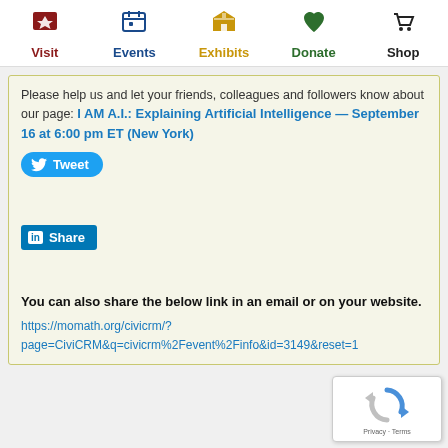Visit | Events | Exhibits | Donate | Shop
Please help us and let your friends, colleagues and followers know about our page: I AM A.I.: Explaining Artificial Intelligence — September 16 at 6:00 pm ET (New York)
[Figure (screenshot): Tweet button (Twitter/X share button, blue, rounded)]
[Figure (screenshot): LinkedIn Share button (blue, square corners)]
You can also share the below link in an email or on your website.
https://momath.org/civicrm/?page=CiviCRM&q=civicrm%2Fevent%2Finfo&id=3149&reset=1
[Figure (screenshot): reCAPTCHA widget with spinning arrows and Privacy · Terms text]